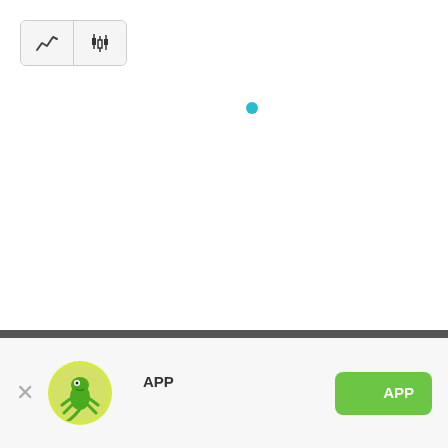[Figure (screenshot): Toolbar with two buttons: a line chart icon (active/selected) and a candlestick chart icon]
[Figure (other): Small teal/cyan filled circle dot, likely a data point indicator on a chart]
[Figure (other): Dark gray horizontal separator banner]
[Figure (other): App promotion bar at bottom with close X, gecko app icon, app name text in Chinese, and green download button]
APP
APP